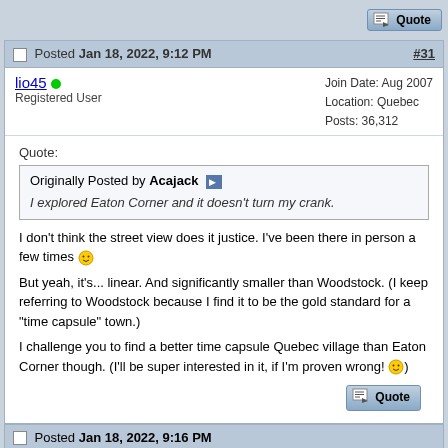[Figure (other): Quote button at top of page]
Posted Jan 18, 2022, 9:12 PM #31
lio45 (online) Registered User | Join Date: Aug 2007 Location: Quebec Posts: 36,312
Quote:
Originally Posted by Acajack
I explored Eaton Corner and it doesn't turn my crank.
I don't think the street view does it justice. I've been there in person a few times :)
But yeah, it's... linear. And significantly smaller than Woodstock. (I keep referring to Woodstock because I find it to be the gold standard for a "time capsule" town.)
I challenge you to find a better time capsule Quebec village than Eaton Corner though. (I'll be super interested in it, if I'm proven wrong! :))
[Figure (other): Quote button at bottom of post]
Posted Jan 18, 2022, 9:16 PM